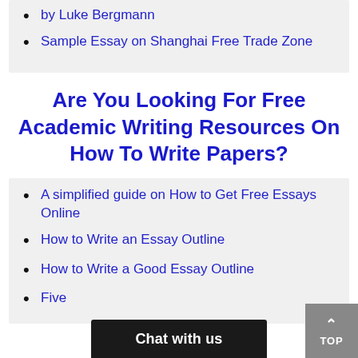by Luke Bergmann
Sample Essay on Shanghai Free Trade Zone
Are You Looking For Free Academic Writing Resources On How To Write Papers?
A simplified guide on How to Get Free Essays Online
How to Write an Essay Outline
How to Write a Good Essay Outline
Five...